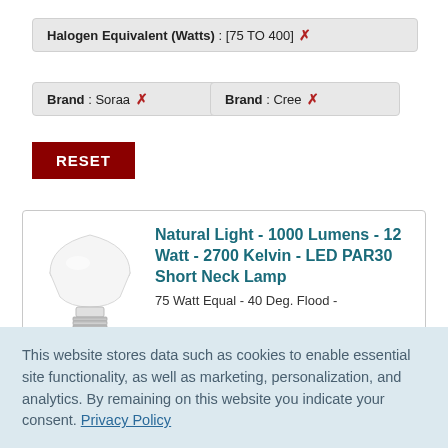Halogen Equivalent (Watts) : [75 TO 400] ✗
Brand : Soraa ✗
Brand : Cree ✗
RESET
[Figure (photo): White LED PAR30 short neck lamp bulb on white background]
Natural Light - 1000 Lumens - 12 Watt - 2700 Kelvin - LED PAR30 Short Neck Lamp
75 Watt Equal - 40 Deg. Flood -
This website stores data such as cookies to enable essential site functionality, as well as marketing, personalization, and analytics. By remaining on this website you indicate your consent. Privacy Policy